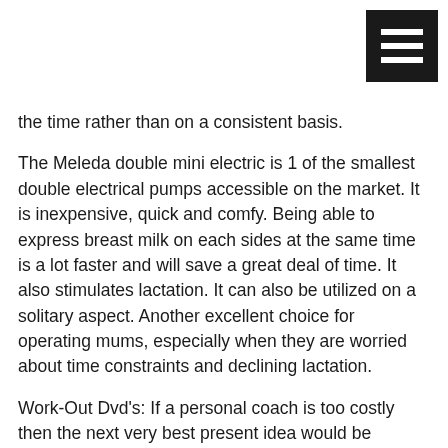[Figure (other): Black hamburger/menu icon button in top-right corner]
the time rather than on a consistent basis.
The Meleda double mini electric is 1 of the smallest double electrical pumps accessible on the market. It is inexpensive, quick and comfy. Being able to express breast milk on each sides at the same time is a lot faster and will save a great deal of time. It also stimulates lactation. It can also be utilized on a solitary aspect. Another excellent choice for operating mums, especially when they are worried about time constraints and declining lactation.
Work-Out Dvd's: If a personal coach is too costly then the next very best present idea would be function-out dvd's. These would give the mom a opportunity to get in form on her on time in the ease and comfort of her own home. Furthermore she would be in earshot of the baby just in case it requirements her.